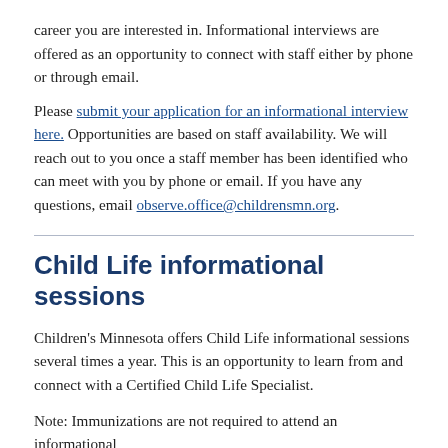career you are interested in. Informational interviews are offered as an opportunity to connect with staff either by phone or through email.
Please submit your application for an informational interview here. Opportunities are based on staff availability. We will reach out to you once a staff member has been identified who can meet with you by phone or email. If you have any questions, email observe.office@childrensmn.org.
Child Life informational sessions
Children's Minnesota offers Child Life informational sessions several times a year. This is an opportunity to learn from and connect with a Certified Child Life Specialist.
Note: Immunizations are not required to attend an informational